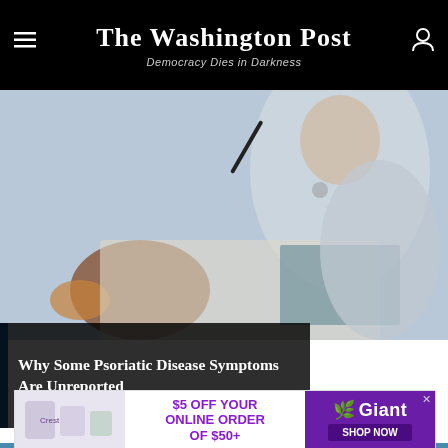The Washington Post — Democracy Dies in Darkness
[Figure (photo): Doctor and patient consultation scene, doctor holding a pen over documents, medical consultation setting]
Why Some Psoriatic Disease Symptoms Are Unreported
[Figure (photo): Two people visible at bottom of page, partial view]
[Figure (other): Advertisement banner: $5 OFF YOUR ONLINE ORDER OF $50+ — Giant supermarket, SHOP NOW button]